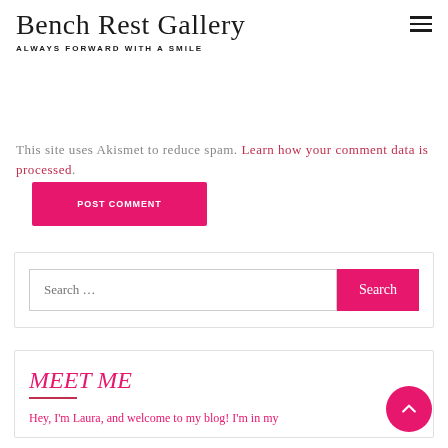Bench Rest Gallery — ALWAYS FORWARD WITH A SMILE
[Figure (screenshot): Pink POST COMMENT button, partially visible at top]
This site uses Akismet to reduce spam. Learn how your comment data is processed.
[Figure (screenshot): Search widget with text input field and pink Search button]
MEET ME
Hey, I'm Laura, and welcome to my blog! I'm in my